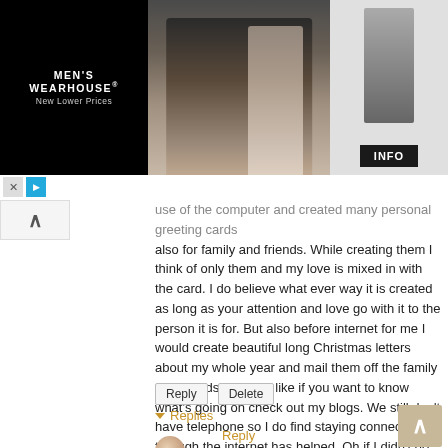[Figure (photo): Men's Wearhouse advertisement banner showing a couple in formal wear and a man in a suit, with INFO button]
use of the computer and created many personal greeting cards also for family and friends. While creating them I think of only them and my love is mixed in with the card. I do believe what ever way it is created as long as your attention and love go with it to the person it is for. But also before internet for me I would create beautiful long Christmas letters about my whole year and mail them off the family and friends. Now it's like if you want to know what's going on check out my blogs. We still don't have telephone so I do find staying connected through the internet has helped. Oh if I didn't do this right now I would be on the couch reading a wonderful book completely engrossed in it. I do at least connect with people here something that was missing before living out so far from everyone. I do wish you the best on the writing contest. This blog was amazing and really got me thinking. Thank you and have a wonderful week.
Reply  Delete
▾ Replies
Reply